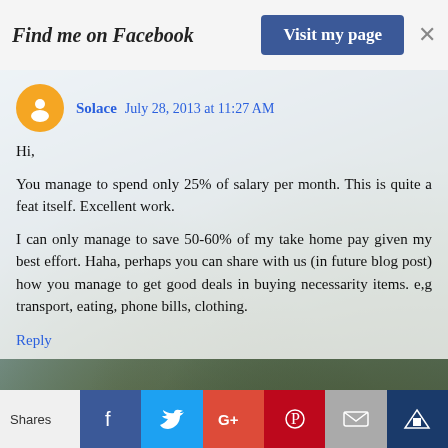Find me on Facebook  Visit my page  ×
Solace  July 28, 2013 at 11:27 AM
Hi,

You manage to spend only 25% of salary per month. This is quite a feat itself. Excellent work.

I can only manage to save 50-60% of my take home pay given my best effort. Haha, perhaps you can share with us (in future blog post) how you manage to get good deals in buying necessarity items. e,g transport, eating, phone bills, clothing.
Reply
▾  Replies
SGYI  ✏  July 28, 2013 at 12:41 PM
Hi Solace,
Shares  f  🐦  G+  P  ✉  👑